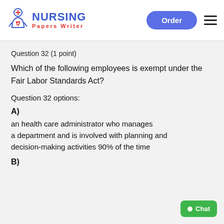NURSING Papers Writer — Order
Question 32 (1 point)
Which of the following employees is exempt under the Fair Labor Standards Act?
Question 32 options:
A)
an health care administrator who manages a department and is involved with planning and decision-making activities 90% of the time
B)